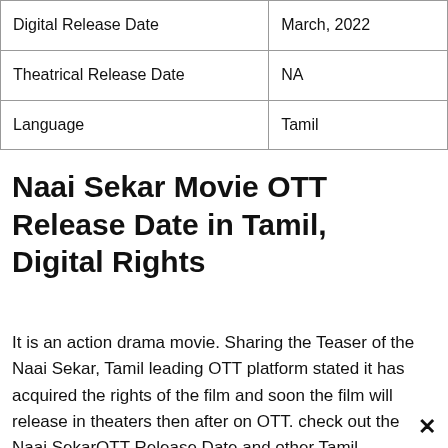| Digital Release Date | March, 2022 |
| Theatrical Release Date | NA |
| Language | Tamil |
Naai Sekar Movie OTT Release Date in Tamil, Digital Rights
It is an action drama movie. Sharing the Teaser of the Naai Sekar, Tamil leading OTT platform stated it has acquired the rights of the film and soon the film will release in theaters then after on OTT. check out the Naai SekarOTT Release Date and other Tamil